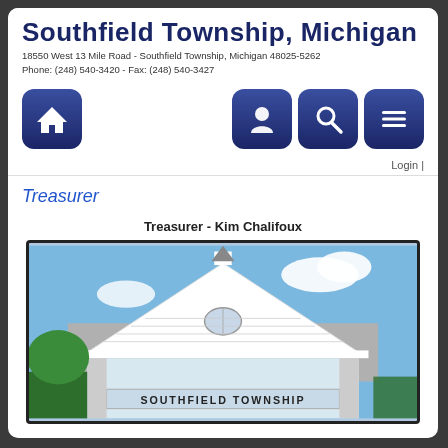Southfield Township, Michigan
18550 West 13 Mile Road - Southfield Township, Michigan 48025-5262
Phone: (248) 540-3420  -  Fax: (248) 540-3427
[Figure (infographic): Navigation buttons: home icon button on left; person/staff, search/magnifier, and menu/list icon buttons on right]
Login  |
Treasurer
Treasurer - Kim Chalifoux
[Figure (photo): Photo of Southfield Township building exterior showing white gabled roof with steeple, arched window, and sign reading SOUTHFIELD TOWNSHIP]